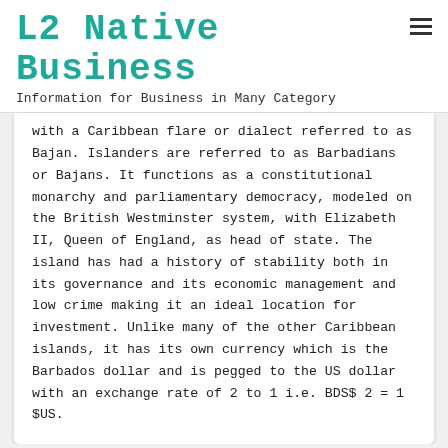L2 Native Business
Information for Business in Many Category
with a Caribbean flare or dialect referred to as Bajan. Islanders are referred to as Barbadians or Bajans. It functions as a constitutional monarchy and parliamentary democracy, modeled on the British Westminster system, with Elizabeth II, Queen of England, as head of state. The island has had a history of stability both in its governance and its economic management and low crime making it an ideal location for investment. Unlike many of the other Caribbean islands, it has its own currency which is the Barbados dollar and is pegged to the US dollar with an exchange rate of 2 to 1 i.e. BDS$ 2 = 1 $US.
Indian Agriculture Sector